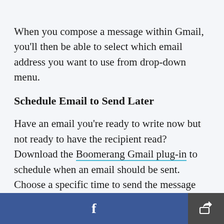When you compose a message within Gmail, you'll then be able to select which email address you want to use from drop-down menu.
Schedule Email to Send Later
Have an email you're ready to write now but not ready to have the recipient read? Download the Boomerang Gmail plug-in to schedule when an email should be sent. Choose a specific time to send the message like 8:45 a.m. when you know the recipient is just sitting down to email, or a more
[Figure (screenshot): Bottom navigation bar with Facebook share button (blue) on the left and a generic share/export button (dark grey) on the right]